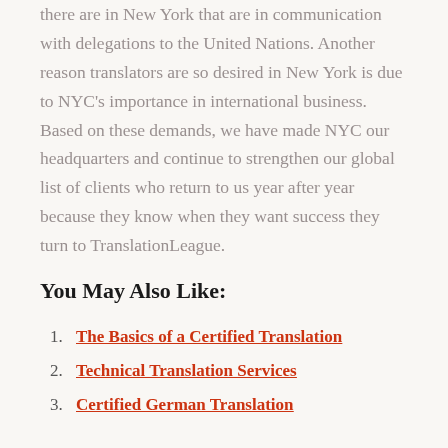there are in New York that are in communication with delegations to the United Nations. Another reason translators are so desired in New York is due to NYC's importance in international business. Based on these demands, we have made NYC our headquarters and continue to strengthen our global list of clients who return to us year after year because they know when they want success they turn to TranslationLeague.
You May Also Like:
1. The Basics of a Certified Translation
2. Technical Translation Services
3. Certified German Translation